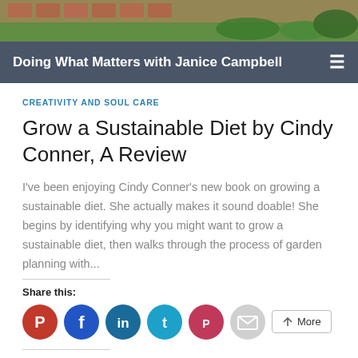[Figure (photo): Rooftop or garden image with red tiles and green plants/vegetation visible]
Doing What Matters with Janice Campbell
CREATIVITY AND SOUL CARE
Grow a Sustainable Diet by Cindy Conner, A Review
I've been enjoying Cindy Conner's new book on growing a sustainable diet. She actually makes it sound doable! She begins by identifying why you might want to grow a sustainable diet, then walks through the process of garden planning with...
Share this:
Like this: